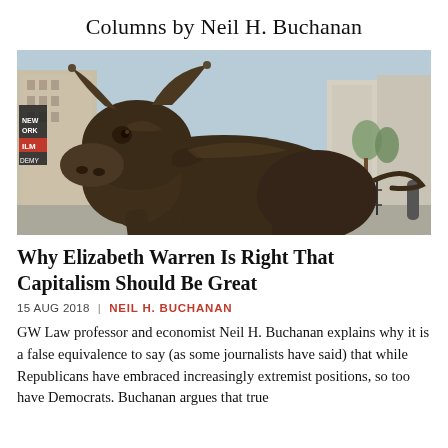Columns by Neil H. Buchanan
[Figure (photo): Bronze charging bull statue (Charging Bull of Wall Street) photographed close-up on a city street with buildings in the background. The bull is a large dark bronze sculpture facing the camera with horns raised.]
Why Elizabeth Warren Is Right That Capitalism Should Be Great
15 AUG 2018  |  NEIL H. BUCHANAN
GW Law professor and economist Neil H. Buchanan explains why it is a false equivalence to say (as some journalists have said) that while Republicans have embraced increasingly extremist positions, so too have Democrats. Buchanan argues that true